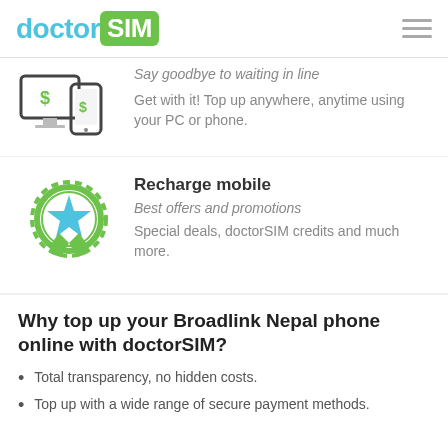doctorSIM
[Figure (illustration): Computer monitor and smartphone icons with dollar signs, representing online top-up]
Say goodbye to waiting in line
Get with it! Top up anywhere, anytime using your PC or phone.
[Figure (illustration): Green badge/medal icon with a blue star, representing recharge mobile offers]
Recharge mobile
Best offers and promotions
Special deals, doctorSIM credits and much more.
Why top up your Broadlink Nepal phone online with doctorSIM?
Total transparency, no hidden costs.
Top up with a wide range of secure payment methods.